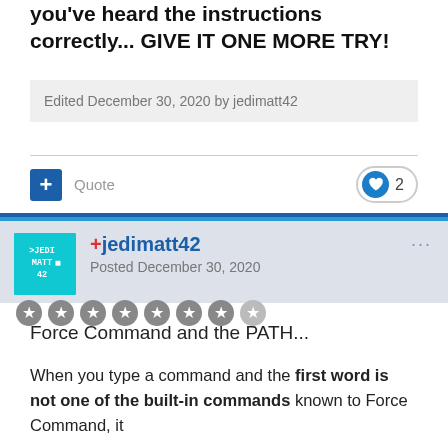you've heard the instructions correctly... GIVE IT ONE MORE TRY!
Edited December 30, 2020 by jedimatt42
[Figure (other): Action bar with plus/quote button on left and a heart like button showing count of 2 on the right]
[Figure (other): User comment header with teal avatar showing JEDI MATT 42, username +jedimatt42, posted December 30, 2020, and star rank icons]
Force Command and the PATH...
When you type a command and the first word is not one of the built-in commands known to Force Command, it